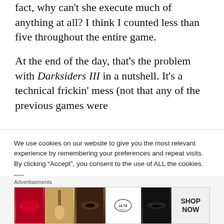fact, why can't she execute much of anything at all? I think I counted less than five throughout the entire game.
At the end of the day, that's the problem with Darksiders III in a nutshell. It's a technical frickin' mess (not that any of the previous games were
We use cookies on our website to give you the most relevant experience by remembering your preferences and repeat visits. By clicking “Accept”, you consent to the use of ALL the cookies.
Do not sell my personal information. (GotGame never sells personal info regardless of this CCPA mandated option)
Advertisements
[Figure (other): Ulta Beauty advertisement banner with makeup images including lips, brush, eye, Ulta logo, and Shop Now text]